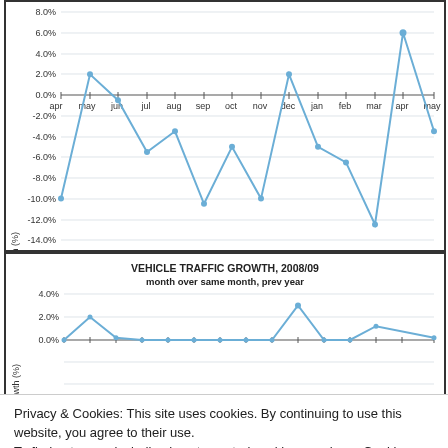[Figure (line-chart): Passenger traffic growth, 2008/09 – month over same month, prev year]
[Figure (line-chart): VEHICLE TRAFFIC GROWTH, 2008/09 month over same month, prev year]
Privacy & Cookies: This site uses cookies. By continuing to use this website, you agree to their use.
To find out more, including how to control cookies, see here: Cookie Policy